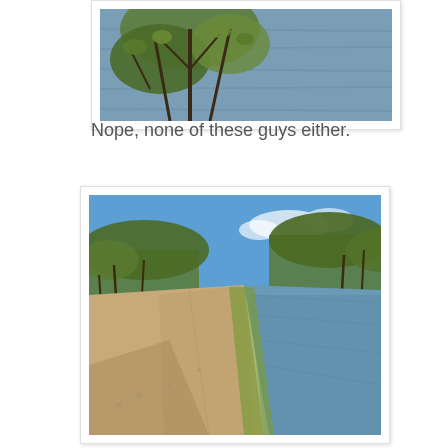[Figure (photo): Partial view of a body of water with bare branches and early spring foliage in the foreground, water visible in background]
Nope, none of these guys either.
[Figure (photo): A towpath or gravel path running alongside a calm canal or river, lined with bare and early-leafing trees on both sides, blue sky visible above]